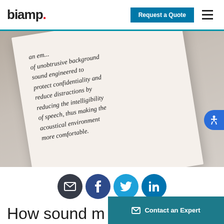biamp. | Request a Quote | (menu)
[Figure (photo): Close-up photo of an open book or printed page with italic text reading: 'an em... of unobtrusive background sound engineered to protect confidentiality and reduce distractions by reducing the intelligibility of speech, thus making the acoustical environment more comfortable.']
[Figure (infographic): Row of four social sharing icons: email (dark gray circle), Facebook (dark blue circle), Twitter (light blue circle), LinkedIn (blue circle)]
How sound m...
[Figure (other): Teal 'Contact an Expert' button with envelope icon in bottom right corner]